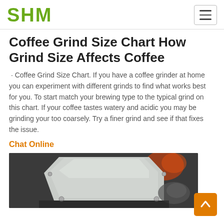SHM
Coffee Grind Size Chart How Grind Size Affects Coffee
· Coffee Grind Size Chart. If you have a coffee grinder at home you can experiment with different grinds to find what works best for you. To start match your brewing type to the typical grind on this chart. If your coffee tastes watery and acidic you may be grinding your too coarsely. Try a finer grind and see if that fixes the issue.
Chat Online
[Figure (photo): Photo of a grey industrial machine/hopper in a workshop setting]